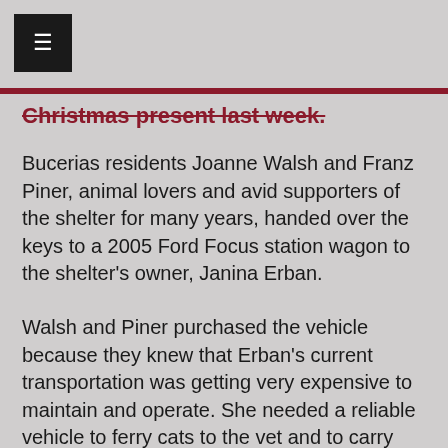Christmas present last week.
Bucerias residents Joanne Walsh and Franz Piner, animal lovers and avid supporters of the shelter for many years, handed over the keys to a 2005 Ford Focus station wagon to the shelter's owner, Janina Erban.
Walsh and Piner purchased the vehicle because they knew that Erban's current transportation was getting very expensive to maintain and operate. She needed a reliable vehicle to ferry cats to the vet and to carry products to sell at local markets during the tourist season.
Piner said he wanted to find Erban a car that was in excellent running condition and easy on the pocketbook in miles-per-gallon.  Other than the…